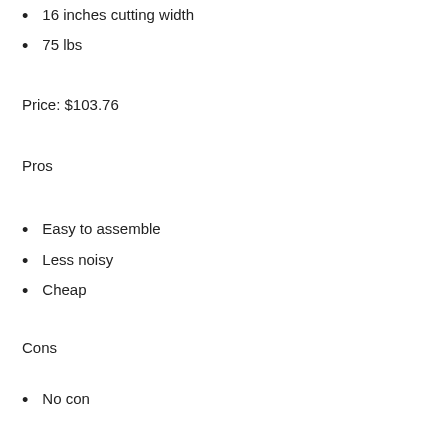16 inches cutting width
75 lbs
Price: $103.76
Pros
Easy to assemble
Less noisy
Cheap
Cons
No con
10. Homelite 26cc